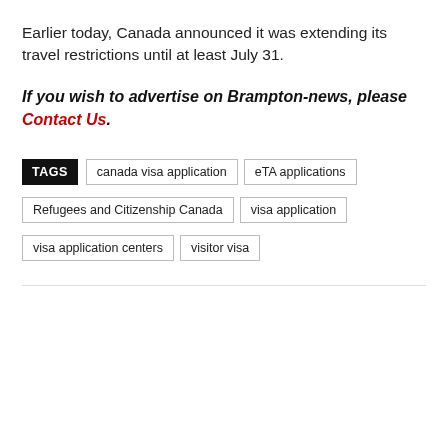Earlier today, Canada announced it was extending its travel restrictions until at least July 31.
If you wish to advertise on Brampton-news, please Contact Us.
TAGS: canada visa application | eTA applications | Refugees and Citizenship Canada | visa application | visa application centers | visitor visa